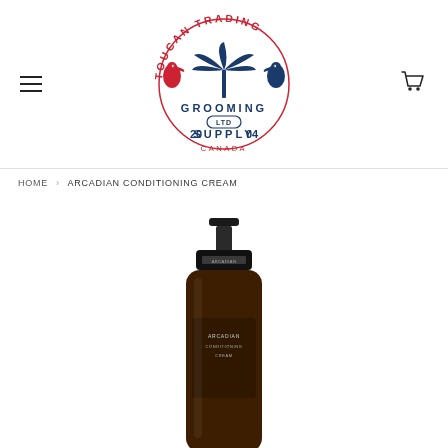[Figure (logo): Toucan Trading Grooming Supply Ltd Canada circular logo with toucan birds and palm tree, red and blue colors]
HOME › ARCADIAN CONDITIONING CREAM
[Figure (photo): Dark amber glass pump bottle of Arcadian Conditioning Cream product, shown from front on white background]